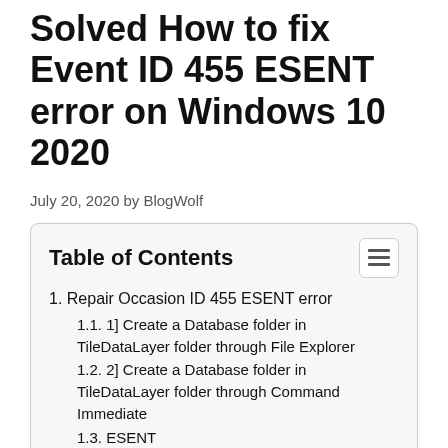Solved How to fix Event ID 455 ESENT error on Windows 10 2020
July 20, 2020 by BlogWolf
Table of Contents
1. Repair Occasion ID 455 ESENT error
1.1. 1] Create a Database folder in TileDataLayer folder through File Explorer
1.2. 2] Create a Database folder in TileDataLayer folder through Command Immediate
1.3. ESENT
1.3.1. Options
1.3.2. Advantages